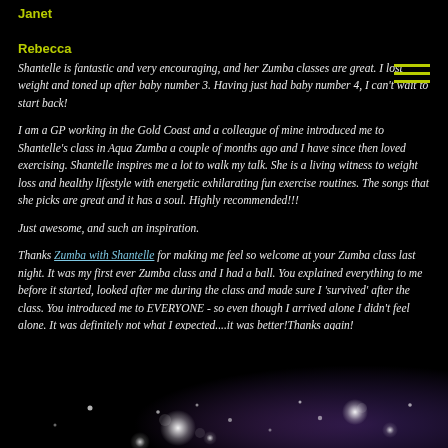Janet
Rebecca
Shantelle is fantastic and very encouraging, and her Zumba classes are great. I lost weight and toned up after baby number 3. Having just had baby number 4, I can't wait to start back!
I am a GP working in the Gold Coast and a colleague of mine introduced me to Shantelle's class in Aqua Zumba a couple of months ago and I have since then loved exercising. Shantelle inspires me a lot to walk my talk. She is a living witness to weight loss and healthy lifestyle with energetic exhilarating fun exercise routines. The songs that she picks are great and it has a soul. Highly recommended!!!
Just awesome, and such an inspiration.
Thanks Zumba with Shantelle for making me feel so welcome at your Zumba class last night. It was my first ever Zumba class and I had a ball. You explained everything to me before it started, looked after me during the class and made sure I 'survived' after the class. You introduced me to EVERYONE - so even though I arrived alone I didn't feel alone. It was definitely not what I expected....it was better!Thanks again!
[Figure (illustration): Decorative bottom gradient background with bokeh light effects (pink/purple/dark), small glowing white circles scattered across bottom portion of page]